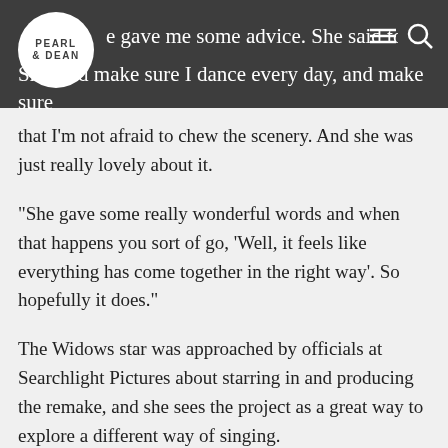e gave me some advice. She said to breathe. She said make sure I dance every day, and make sure
that I'm not afraid to chew the scenery. And she was just really lovely about it.
“She gave some really wonderful words and when that happens you sort of go, ‘Well, it feels like everything has come together in the right way’. So hopefully it does.”
The Widows star was approached by officials at Searchlight Pictures about starring in and producing the remake, and she sees the project as a great way to explore a different way of singing.